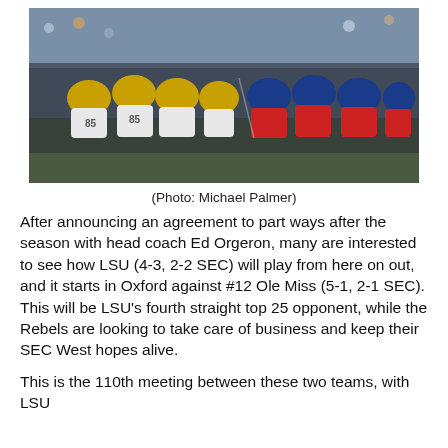[Figure (photo): Football players from two teams lined up at the line of scrimmage. Left side wearing gold/yellow helmets and white/purple uniforms (LSU), right side wearing blue helmets and red/grey uniforms (Ole Miss).]
(Photo: Michael Palmer)
After announcing an agreement to part ways after the season with head coach Ed Orgeron, many are interested to see how LSU (4-3, 2-2 SEC) will play from here on out, and it starts in Oxford against #12 Ole Miss (5-1, 2-1 SEC). This will be LSU’s fourth straight top 25 opponent, while the Rebels are looking to take care of business and keep their SEC West hopes alive.
This is the 110th meeting between these two teams, with LSU